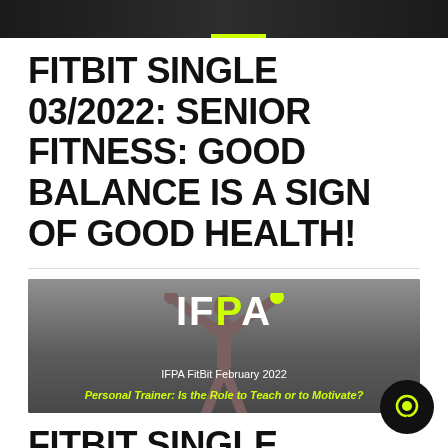[Figure (photo): Dark banner image at top, partially visible, with a small yellow-green accent element]
FITBIT SINGLE 03/2022: SENIOR FITNESS: GOOD BALANCE IS A SIGN OF GOOD HEALTH!
[Figure (photo): IFPA branded banner image. Gray background with a person raising arms. Shows 'IFPA FitBit February 2022' subtitle and 'Personal Trainer: Is the Role to Teach or to Motivate?' tagline in yellow-green.]
FITBIT SINGLE 02/2022: PERSONAL TRAINER: IS THE